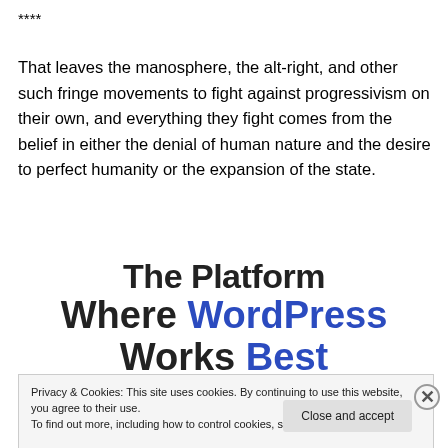****
That leaves the manosphere, the alt-right, and other such fringe movements to fight against progressivism on their own, and everything they fight comes from the belief in either the denial of human nature and the desire to perfect humanity or the expansion of the state.
[Figure (other): WordPress promotional banner: 'The Platform Where WordPress Works Best' with 'WordPress' and 'Best' in blue bold text]
Privacy & Cookies: This site uses cookies. By continuing to use this website, you agree to their use.
To find out more, including how to control cookies, see here: Cookie Policy
Close and accept